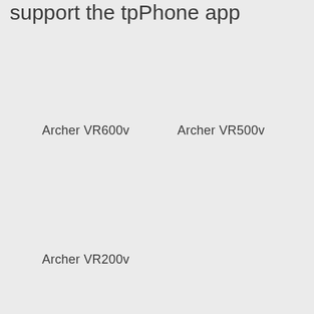support the tpPhone app
Archer VR600v
Archer VR500v
Archer VR200v